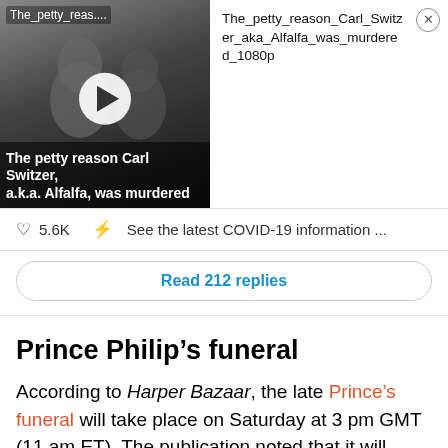[Figure (screenshot): Video thumbnail showing black-and-white photo of Carl Switzer (Alfalfa) with play button overlay. Top label reads 'The_petty_reas....' and bottom text reads 'The petty reason Carl Switzer, a.k.a. Alfalfa, was murdered']
The_petty_reason_Carl_Switzer_aka_Alfalfa_was_murdered_1080p
5.6K   See the latest COVID-19 information ...
Read 212 replies
Prince Philip’s funeral
According to Harper Bazaar, the late Prince’s funeral will take place on Saturday at 3 pm GMT (11 am ET). The publication noted that it will “coincide with a national minute of silence” and due to the UK Government’s guidelines, only